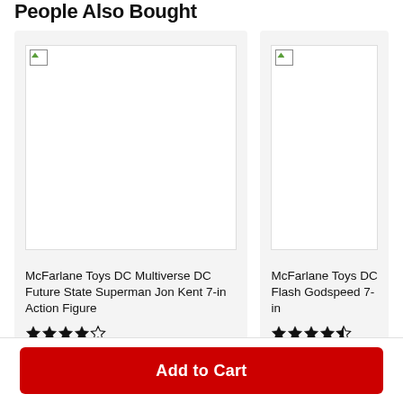People Also Bought
[Figure (photo): Product image placeholder for McFarlane Toys DC Multiverse DC Future State Superman Jon Kent 7-in Action Figure (broken image icon shown)]
McFarlane Toys DC Multiverse DC Future State Superman Jon Kent 7-in Action Figure
★★★★☆ (4 out of 5 stars)
$19.99
[Figure (photo): Product image placeholder for McFarlane Toys DC Flash Godspeed 7-in (broken image icon shown)]
McFarlane Toys DC Flash Godspeed 7-in
★★★★½ (4.5 out of 5 stars)
$19.99
Add to Cart